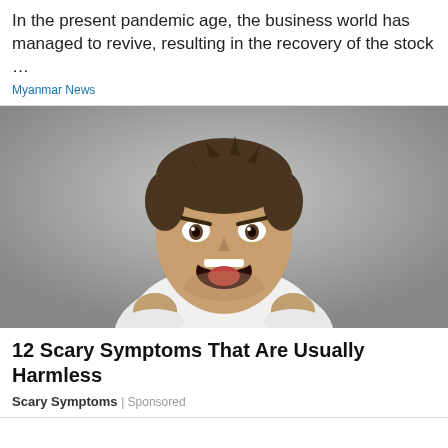In the present pandemic age, the business world has managed to revive, resulting in the recovery of the stock …
Myanmar News
[Figure (photo): Man screaming angrily with clenched fists, wearing a white t-shirt, against a grey background]
12 Scary Symptoms That Are Usually Harmless
Scary Symptoms | Sponsored